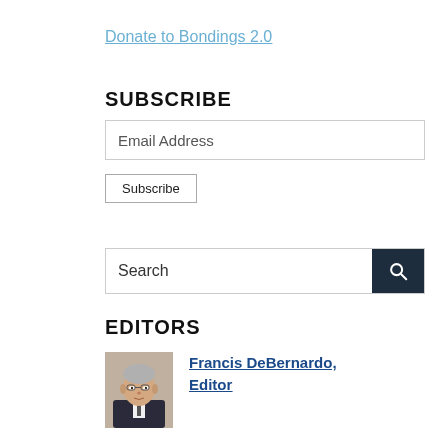Donate to Bondings 2.0
SUBSCRIBE
Email Address
Subscribe
Search
EDITORS
[Figure (photo): Photo of Francis DeBernardo, Editor — an older man with grey hair and glasses wearing a dark suit]
Francis DeBernardo, Editor